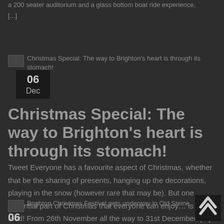a 200 seater auditorium and a glass bottom boat ride experience, [...]
[Figure (photo): Thumbnail image for Christmas Special article]
Christmas Special: The way to Brighton's heart is through its stomach!
06
Dec
Christmas Special: The way to Brighton's heart is through its stomach!
Tweet Everyone has a favourite aspect of Christmas, whether that be the sharing of presents, hanging up the decorations, playing in the snow (however rare that may be). But one essential part of Christmas that everyone can enjoy… is the food! From 26th November all the way to 31st December, [...]
[Figure (photo): Thumbnail image for Brighton Christmas Festival article]
Brighton Christmas Festival gets underway in Old Steine
06